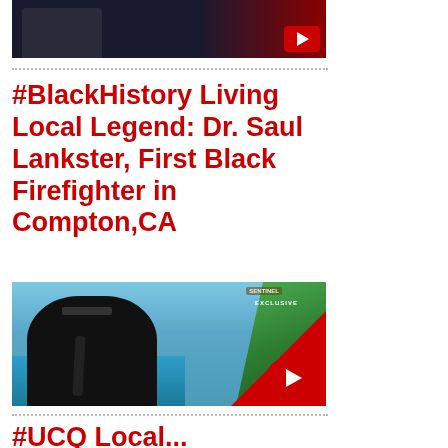[Figure (screenshot): Video thumbnail with dark background and red play button overlay]
#BlackHistory Living Local Legend: Dr. Saul Lankster, First Black Firefighter in Compton,CA
[Figure (screenshot): Video thumbnail showing a man in a suit outdoors with palm trees and ocean background, with SENTINEL watermark, EXCLUSIVE tag, and red play button]
#UCQ Local...